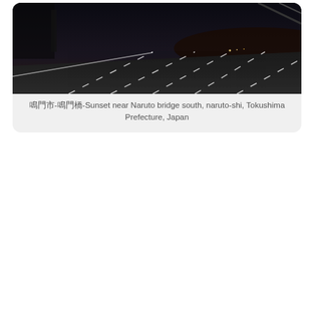[Figure (photo): Dark night/sunset photo of a highway near Naruto bridge south, naruto-shi, Tokushima Prefecture, Japan. Road markings visible on dark asphalt.]
鳴門市-鳴門橋-Sunset near Naruto bridge south, naruto-shi, Tokushima Prefecture, Japan